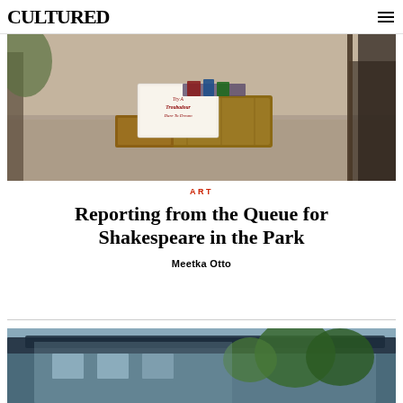CULTURED
[Figure (photo): Outdoor scene showing wooden crates/boxes on a path with a sign reading 'Try A Troubadour Dare To Dream', trees and gravel path in background]
ART
Reporting from the Queue for Shakespeare in the Park
Meetka Otto
[Figure (photo): Partial view of a building with blue roof/overhang and trees visible, bottom of page]